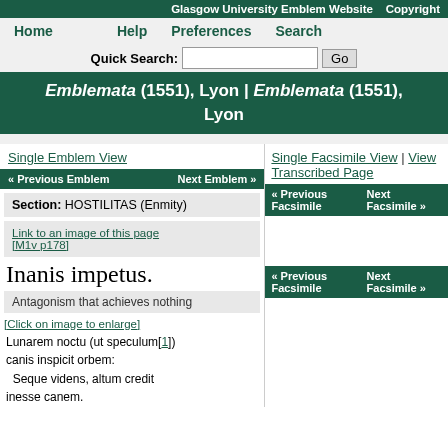Glasgow University Emblem Website  Copyright
Home   Help   Preferences   Search
Quick Search:  [input]  Go
Emblemata (1551), Lyon | Emblemata (1551), Lyon
Single Emblem View
« Previous Emblem   Next Emblem »
Single Facsimile View | View Transcribed Page
« Previous Facsimile   Next Facsimile »
Section: HOSTILITAS (Enmity)
« Previous Facsimile   Next Facsimile »
Link to an image of this page
[M1v p178]
Inanis impetus.
Antagonism that achieves nothing
[Click on image to enlarge]
Lunarem noctu (ut speculum[1]) canis inspicit orbem:
  Seque videns, altum credit
inesse canem.